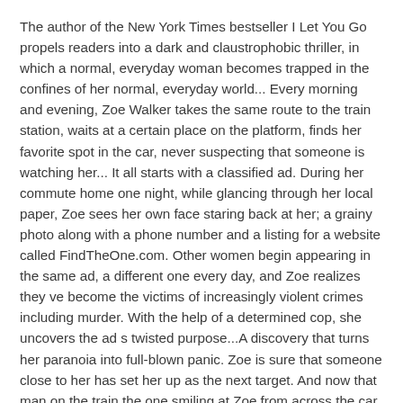The author of the New York Times bestseller I Let You Go propels readers into a dark and claustrophobic thriller, in which a normal, everyday woman becomes trapped in the confines of her normal, everyday world... Every morning and evening, Zoe Walker takes the same route to the train station, waits at a certain place on the platform, finds her favorite spot in the car, never suspecting that someone is watching her... It all starts with a classified ad. During her commute home one night, while glancing through her local paper, Zoe sees her own face staring back at her; a grainy photo along with a phone number and a listing for a website called FindTheOne.com. Other women begin appearing in the same ad, a different one every day, and Zoe realizes they ve become the victims of increasingly violent crimes including murder. With the help of a determined cop, she uncovers the ad s twisted purpose...A discovery that turns her paranoia into full-blown panic. Zoe is sure that someone close to her has set her up as the next target. And now that man on the train the one smiling at Zoe from across the car could be more than just a friendly stranger. He could be someone who has deliberately chosen her and is ready to